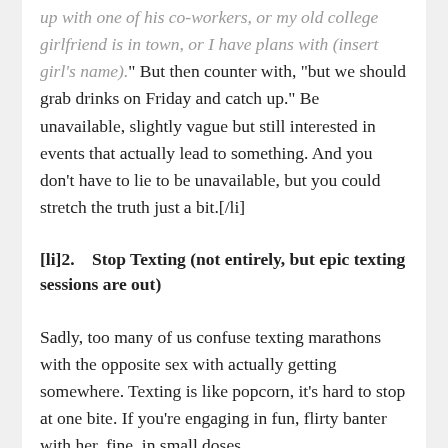up with one of his co-workers, or my old college girlfriend is in town, or I have plans with (insert girl's name)." But then counter with, "but we should grab drinks on Friday and catch up." Be unavailable, slightly vague but still interested in events that actually lead to something. And you don't have to lie to be unavailable, but you could stretch the truth just a bit.[/li]
[li]2. Stop Texting (not entirely, but epic texting sessions are out)
Sadly, too many of us confuse texting marathons with the opposite sex with actually getting somewhere. Texting is like popcorn, it's hard to stop at one bite. If you're engaging in fun, flirty banter with her, fine, in small doses.